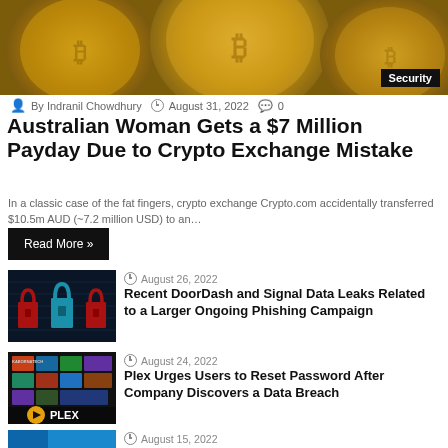[Figure (photo): Bitcoin gold coins close-up photo with Security badge overlay in bottom right]
By Indranil Chowdhury  August 31, 2022  0
Australian Woman Gets a $7 Million Payday Due to Crypto Exchange Mistake
In a classic case of the fat fingers, crypto exchange Crypto.com accidentally transferred $10.5m AUD (~7.2 million USD) to an…
Read More »
[Figure (photo): Cybersecurity padlocks illustration - three padlocks (red, blue/cyan, red) on dark digital background]
August 26, 2022
Recent DoorDash and Signal Data Leaks Related to a Larger Ongoing Phishing Campaign
[Figure (photo): Plex media server interface with logo on dark background, KABORNATECH watermark]
August 24, 2022
Plex Urges Users to Reset Password After Company Discovers a Data Breach
[Figure (photo): Blue technology background with smartphone - partial view]
August 15, 2022